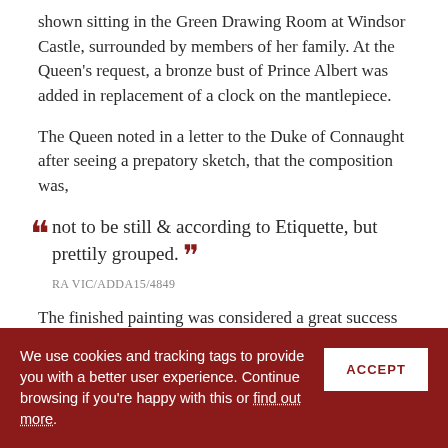shown sitting in the Green Drawing Room at Windsor Castle, surrounded by members of her family. At the Queen's request, a bronze bust of Prince Albert was added in replacement of a clock on the mantlepiece.
The Queen noted in a letter to the Duke of Connaught after seeing a prepatory sketch, that the composition was,
“ not to be still & according to Etiquette, but prettily grouped. ”
RA VIC/ADDA15/4849
The finished painting was considered a great success and Queen Victoria noted,
“ The picture is beautiful, the Drawing room admirably painted & the likenesses ver…
We use cookies and tracking tags to provide you with a better user experience. Continue browsing if you're happy with this or find out more.